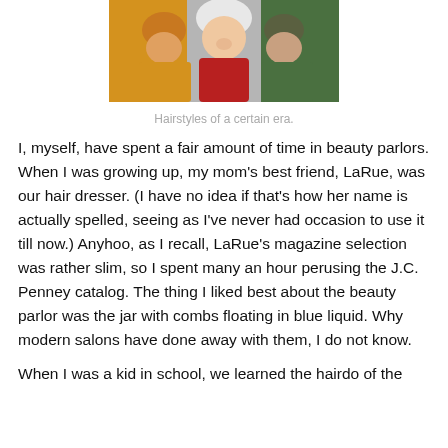[Figure (photo): A group photo of three people with distinctive hairstyles from a certain era — one person in yellow on the left, a woman with white hair in the center wearing red, and a person in green on the right.]
Hairstyles of a certain era.
I, myself, have spent a fair amount of time in beauty parlors. When I was growing up, my mom's best friend, LaRue, was our hair dresser. (I have no idea if that's how her name is actually spelled, seeing as I've never had occasion to use it till now.) Anyhoo, as I recall, LaRue's magazine selection was rather slim, so I spent many an hour perusing the J.C. Penney catalog. The thing I liked best about the beauty parlor was the jar with combs floating in blue liquid. Why modern salons have done away with them, I do not know.
When I was a kid in school, we learned the hairdo of the